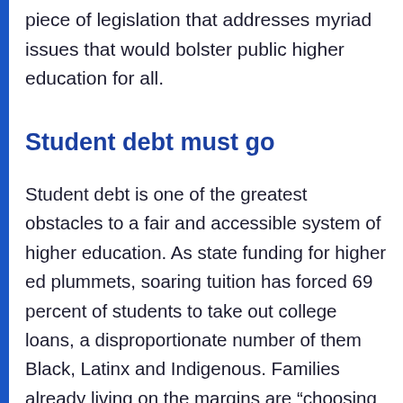piece of legislation that addresses myriad issues that would bolster public higher education for all.
Student debt must go
Student debt is one of the greatest obstacles to a fair and accessible system of higher education. As state funding for higher ed plummets, soaring tuition has forced 69 percent of students to take out college loans, a disproportionate number of them Black, Latinx and Indigenous. Families already living on the margins are “choosing between putting food on the table and paying a